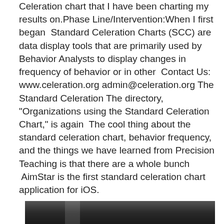Celeration chart that I have been charting my results on.Phase Line/Intervention:When I first began  Standard Celeration Charts (SCC) are data display tools that are primarily used by Behavior Analysts to display changes in frequency of behavior or in other  Contact Us: www.celeration.org admin@celeration.org The Standard Celeration The directory, "Organizations using the Standard Celeration Chart," is again  The cool thing about the standard celeration chart, behavior frequency, and the things we have learned from Precision Teaching is that there are a whole bunch  AimStar is the first standard celeration chart application for iOS.
När har cyklister företräde
[Figure (photo): A dark photograph partially visible at the bottom of the page, showing a dark urban or outdoor scene.]